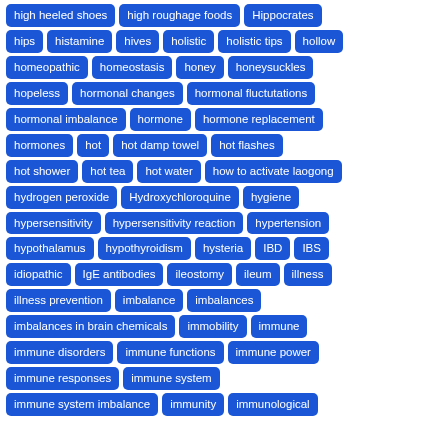high heeled shoes
high roughage foods
Hippocrates
hips
histamine
hives
holistic
holistic tips
hollow
homeopathic
homeostasis
honey
honeysuckles
hopeless
hormonal changes
hormonal fluctutations
hormonal imbalance
hormone
hormone replacement
hormones
hot
hot damp towel
hot flashes
hot shower
hot tea
hot water
how to activate laogong
hydrogen peroxide
Hydroxychloroquine
hygiene
hypersensitivity
hypersensitivity reaction
hypertension
hypothalamus
hypothyroidism
hysteria
IBD
IBS
idiopathic
IgE antibodies
ileostomy
ileum
illness
illness prevention
imbalance
imbalances
imbalances in brain chemicals
immobility
immune
immune disorders
immune functions
immune power
immune responses
immune system
immune system imbalance
immunity
immunological